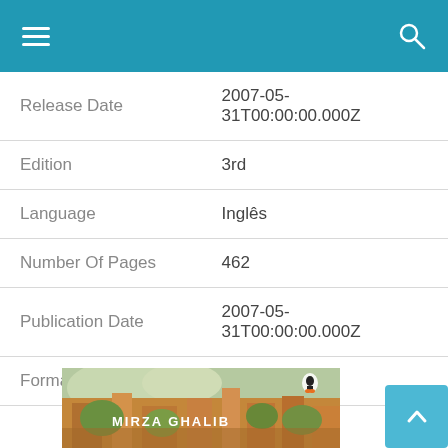| Field | Value |
| --- | --- |
| Release Date | 2007-05-31T00:00:00.000Z |
| Edition | 3rd |
| Language | Inglês |
| Number Of Pages | 462 |
| Publication Date | 2007-05-31T00:00:00.000Z |
| Format | eBook Kindle |
[Figure (illustration): Book cover for Mirza Ghalib — a colorful painting-style cover with warm earth tones, showing an architectural scene. The title MIRZA GHALIB is written in white text. A Penguin logo is visible in the upper right area of the cover.]